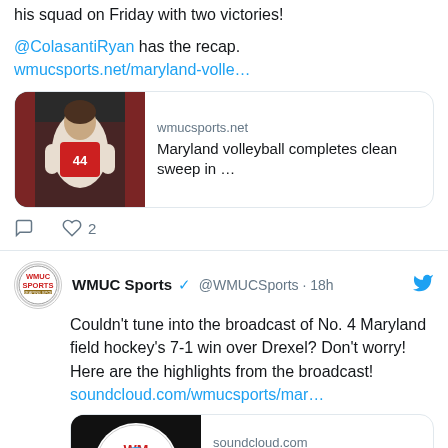his squad on Friday with two victories!
@ColasantiRyan has the recap. wmucsports.net/maryland-volle…
[Figure (screenshot): Link card showing a volleyball player photo on the left and text 'wmucsports.net / Maryland volleyball completes clean sweep in ...' on the right]
♡ 2 (likes and comment icons)
WMUC Sports @WMUCSports · 18h — Couldn't tune into the broadcast of No. 4 Maryland field hockey's 7-1 win over Drexel? Don't worry! Here are the highlights from the broadcast! soundcloud.com/wmucsports/mar…
[Figure (screenshot): Link card showing WMUC Sports logo with play button on the left and text 'soundcloud.com / Maryland Vs. Drexel Field Hockey Highlights 8 - 26 - 22' on the right]